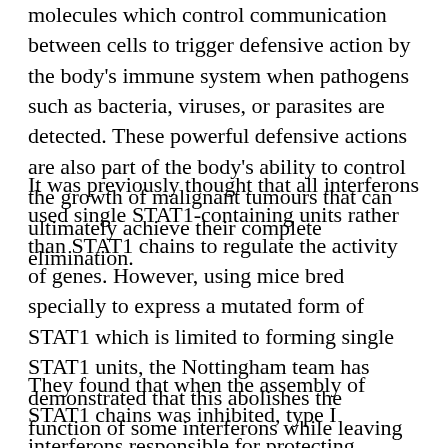molecules which control communication between cells to trigger defensive action by the body's immune system when pathogens such as bacteria, viruses, or parasites are detected. These powerful defensive actions are also part of the body's ability to control the growth of malignant tumours that can ultimately achieve their complete elimination.
It was previously thought that all interferons used single STAT1-containing units rather than STAT1 chains to regulate the activity of genes. However, using mice bred specially to express a mutated form of STAT1 which is limited to forming single STAT1 units, the Nottingham team has demonstrated that this abolishes the function of some interferons while leaving others largely unaffected.
They found that when the assembly of STAT1 chains was inhibited, type I interferons responsible for protecting against viruses such as vesicular stomatitis virus were unaffected, whereas type II interferons, which protect